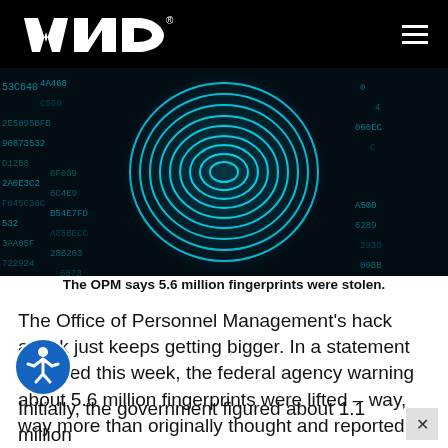WND
[Figure (photo): A glowing cyan fingerprint overlaid on a dark background filled with hexadecimal code characters, representing a cybersecurity or data breach concept.]
The OPM says 5.6 million fingerprints were stolen.
The Office of Personnel Management's hack attack just keeps getting bigger. In a statement released this week, the federal agency warning about 5.6 million fingerprints were lifted – way, way more than originally thought and reported.
Initially, the government figured about 1.1 million